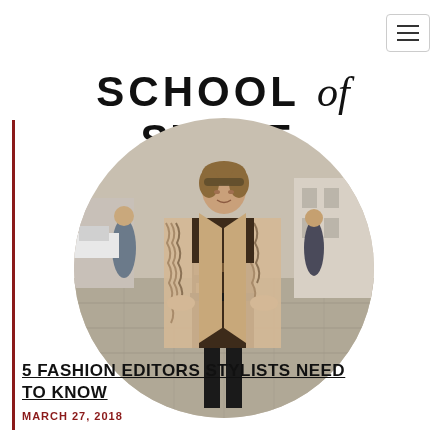[Figure (other): Navigation hamburger menu button with three horizontal lines in a rounded rectangle border]
SCHOOL of STYLE.
[Figure (photo): A woman wearing a fur coat and patterned dress walking on a city street, shown in a circular crop]
5 FASHION EDITORS STYLISTS NEED TO KNOW
MARCH 27, 2018